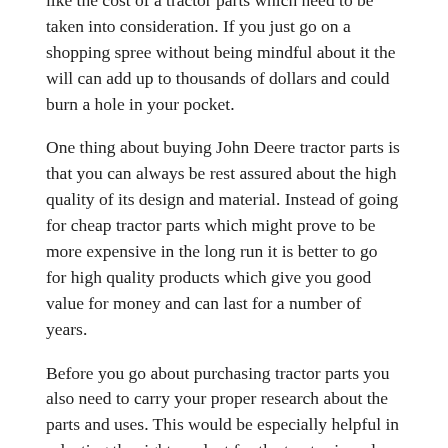like the cost of a tractor parts which need to be taken into consideration. If you just go on a shopping spree without being mindful about it the will can add up to thousands of dollars and could burn a hole in your pocket.
One thing about buying John Deere tractor parts is that you can always be rest assured about the high quality of its design and material. Instead of going for cheap tractor parts which might prove to be more expensive in the long run it is better to go for high quality products which give you good value for money and can last for a number of years.
Before you go about purchasing tractor parts you also need to carry your proper research about the parts and uses. This would be especially helpful in selecting the right product for the tractor in order to ensure that it operates smoothly and is compatible with your tractor.
Why purchase John Deere tractor parts